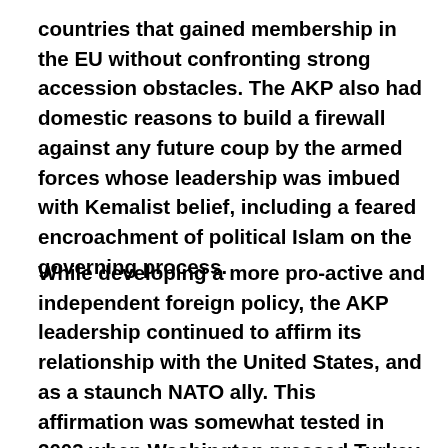countries that gained membership in the EU without confronting strong accession obstacles. The AKP also had domestic reasons to build a firewall against any future coup by the armed forces whose leadership was imbued with Kemalist belief, including a feared encroachment of political Islam on the governing process.
While developing a more pro-active and independent foreign policy, the AKP leadership continued to affirm its relationship with the United States, and as a staunch NATO ally. This affirmation was somewhat tested in 2003 when Washington pressed Turkey to allow a portion of the planned attack on Iraq to proceed from Turkish territory. The Turkish Parliament